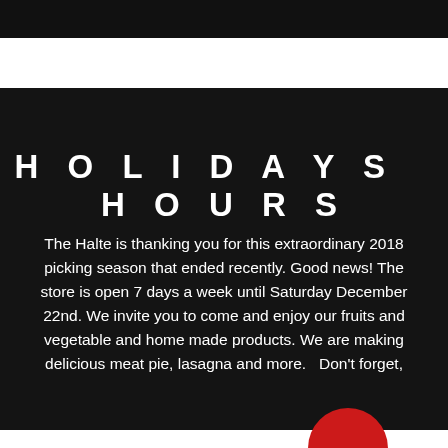HOLIDAYS HOURS
The Halte is thanking you for this extraordinary 2018 picking season that ended recently. Good news! The store is open 7 days a week until Saturday December 22nd. We invite you to come and enjoy our fruits and vegetable and home made products. We are making delicious meat pie, lasagna and more.   Don't forget,